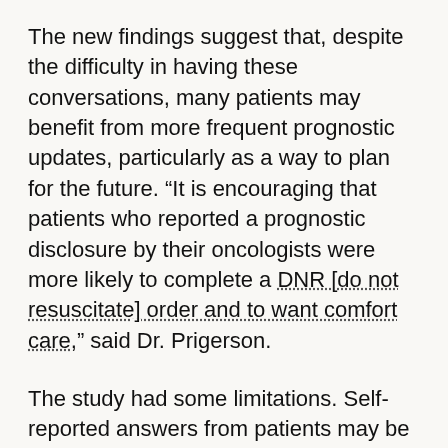The new findings suggest that, despite the difficulty in having these conversations, many patients may benefit from more frequent prognostic updates, particularly as a way to plan for the future. “It is encouraging that patients who reported a prognostic disclosure by their oncologists were more likely to complete a DNR [do not resuscitate] order and to want comfort care,” said Dr. Prigerson.
The study had some limitations. Self-reported answers from patients may be subject to recall bias, for example, and the associations described in the study do not demonstrate cause-and-effect, the authors noted.
Dr. Prigerson also cautioned that not all patients benefit from having prognostic information..
“Some patients may not be ready to hear and process